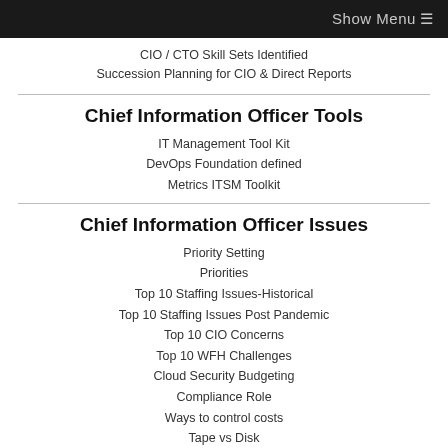Show Menu ≡
CIO / CTO Skill Sets Identified
Succession Planning for CIO & Direct Reports
Chief Information Officer Tools
IT Management Tool Kit
DevOps Foundation defined
Metrics ITSM Toolkit
Chief Information Officer Issues
Priority Setting
Priorities
Top 10 Staffing Issues-Historical
Top 10 Staffing Issues Post Pandemic
Top 10 CIO Concerns
Top 10 WFH Challenges
Cloud Security Budgeting
Compliance Role
Ways to control costs
Tape vs Disk
Improving Productivity